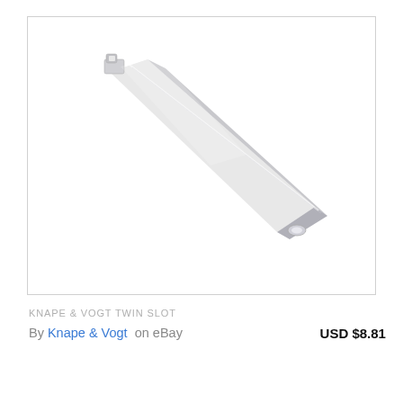[Figure (photo): A white metal shelf bracket (Knape & Vogt Twin Slot bracket) shown diagonally, with a chrome tip at the lower right end and a mounting hook at the upper left. The bracket is elongated and triangular in cross-section, photographed on a white background.]
KNAPE & VOGT TWIN SLOT
By Knape & Vogt on eBay    USD $8.81